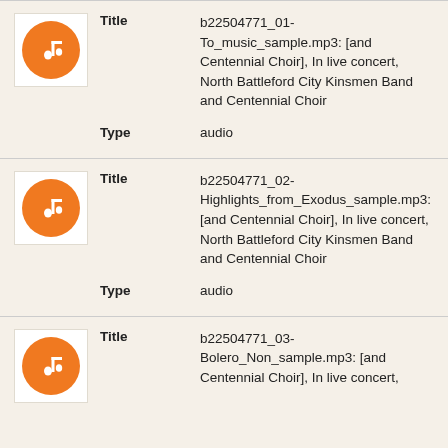[Figure (illustration): Orange circle with white music note icon]
Title
b22504771_01-To_music_sample.mp3: [and Centennial Choir], In live concert, North Battleford City Kinsmen Band and Centennial Choir
Type
audio
[Figure (illustration): Orange circle with white music note icon]
Title
b22504771_02-Highlights_from_Exodus_sample.mp3: [and Centennial Choir], In live concert, North Battleford City Kinsmen Band and Centennial Choir
Type
audio
[Figure (illustration): Orange circle with white music note icon]
Title
b22504771_03-Bolero_Non_sample.mp3: [and Centennial Choir], In live concert,